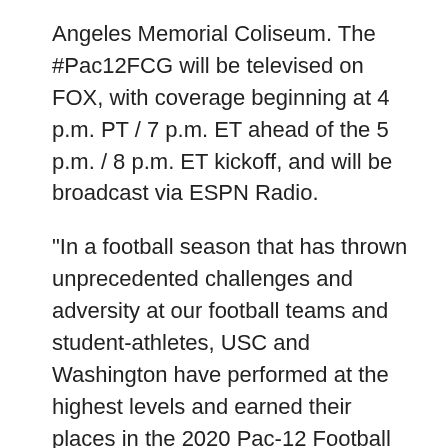Angeles Memorial Coliseum. The #Pac12FCG will be televised on FOX, with coverage beginning at 4 p.m. PT / 7 p.m. ET ahead of the 5 p.m. / 8 p.m. ET kickoff, and will be broadcast via ESPN Radio.
“In a football season that has thrown unprecedented challenges and adversity at our football teams and student-athletes, USC and Washington have performed at the highest levels and earned their places in the 2020 Pac-12 Football Championship Game as the Pac-12 South and North Champions,” said Pac-12 Commissioner Larry Scott.
USC is ranked No. 15 in the latest CFP rankings (Dec. 8) and defeated rival UCLA, 43-38, in its regu